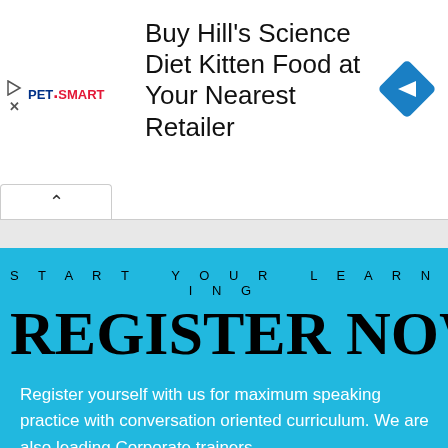[Figure (screenshot): PetSmart advertisement banner: 'Buy Hill's Science Diet Kitten Food at Your Nearest Retailer' with PetSmart logo and blue navigation diamond icon]
START YOUR LEARNING
REGISTER NOW
Register yourself with us for maximum speaking practice with conversation oriented curriculum. We are also leading Corporate trainers.